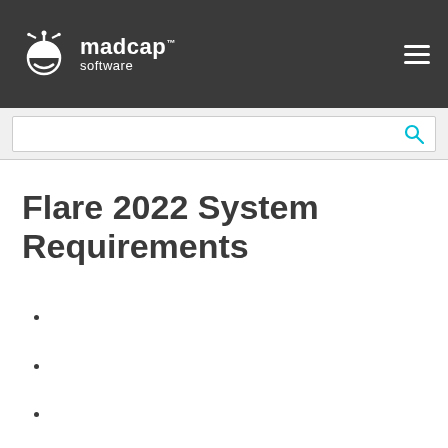madcap software
Flare 2022 System Requirements